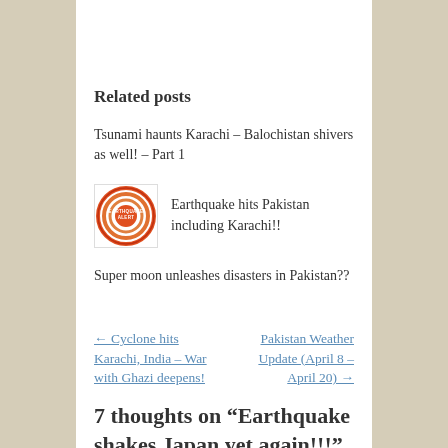Related posts
Tsunami haunts Karachi – Balochistan shivers as well! – Part 1
[Figure (logo): Earthquake Alert circular logo with red concentric rings and text EARTHQUAKE ALERT in the center]
Earthquake hits Pakistan including Karachi!!
Super moon unleashes disasters in Pakistan??
← Cyclone hits Karachi, India – War with Ghazi deepens!
Pakistan Weather Update (April 8 – April 20) →
7 thoughts on “Earthquake shakes Japan yet again!!!”